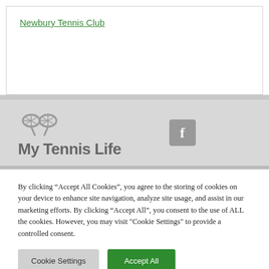Newbury Tennis Club
[Figure (logo): My Tennis Life logo with crossed tennis rackets icon and Facebook icon]
By clicking “Accept All Cookies”, you agree to the storing of cookies on your device to enhance site navigation, analyze site usage, and assist in our marketing efforts. By clicking “Accept All”, you consent to the use of ALL the cookies. However, you may visit "Cookie Settings" to provide a controlled consent.
Cookie Settings
Accept All